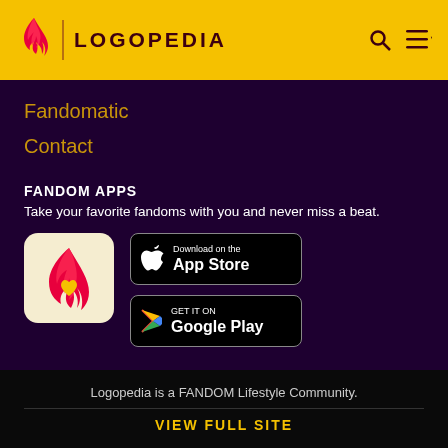LOGOPEDIA
Fandomatic
Contact
FANDOM APPS
Take your favorite fandoms with you and never miss a beat.
[Figure (logo): Fandom app icon — pink/red flame with yellow heart on cream background]
[Figure (screenshot): Download on the App Store button]
[Figure (screenshot): GET IT ON Google Play button]
Logopedia is a FANDOM Lifestyle Community.
VIEW FULL SITE